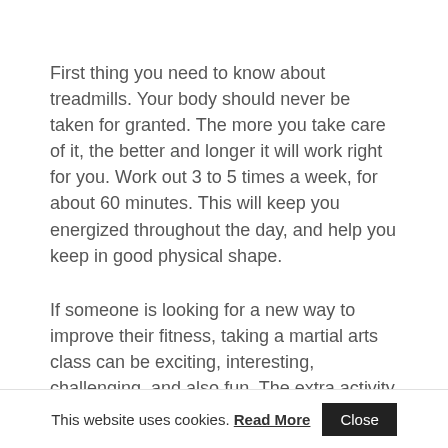First thing you need to know about treadmills. Your body should never be taken for granted. The more you take care of it, the better and longer it will work right for you. Work out 3 to 5 times a week, for about 60 minutes. This will keep you energized throughout the day, and help you keep in good physical shape.
If someone is looking for a new way to improve their fitness, taking a martial arts class can be exciting, interesting, challenging, and also fun. The extra activity and exercises
This website uses cookies. Read More  Close